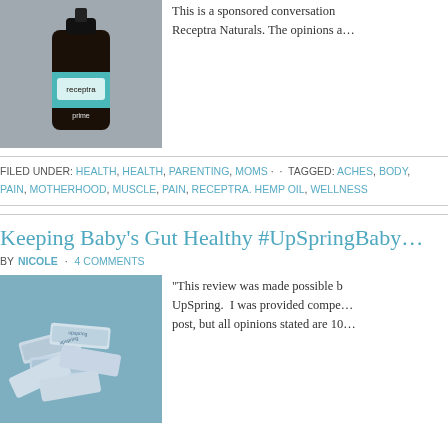[Figure (photo): Dark brown glass dropper bottle with 'receptra prime' label on teal background]
This is a sponsored conversation with Receptra Naturals. The opinions a…
FILED UNDER: HEALTH, HEALTH, PARENTING, MOMS · · TAGGED: ACHES, BODY, PAIN, MOTHERHOOD, MUSCLE, PAIN, RECEPTRA. HEMP OIL, WELLNESS
Keeping Baby's Gut Healthy #UpSpringBaby
BY NICOLE · 4 COMMENTS
[Figure (photo): Pile of UpSpring colostrum powder packets on blue surface]
“This review was made possible by UpSpring. I was provided compe… post, but all opinions stated are 10…